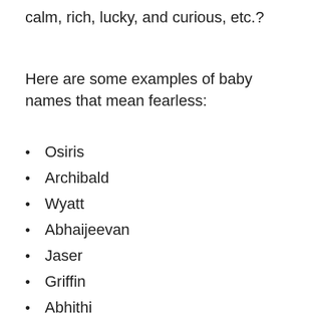calm, rich, lucky, and curious, etc.?
Here are some examples of baby names that mean fearless:
Osiris
Archibald
Wyatt
Abhaijeevan
Jaser
Griffin
Abhithi
Dhrishit
Batoor
Baldric